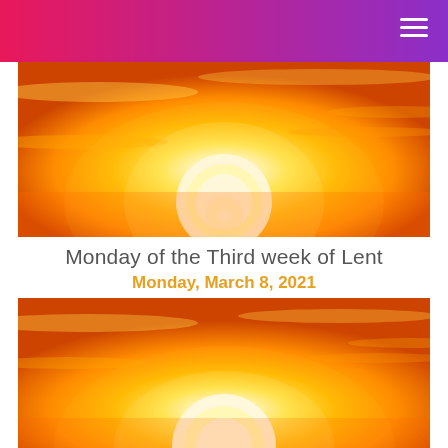[Figure (photo): Bright sunrise or sunset with golden yellow sun and orange sky with clouds]
Monday of the Third week of Lent
Monday, March 8, 2021
[Figure (photo): Bright sunrise or sunset with golden yellow sun and orange sky with clouds (second image)]